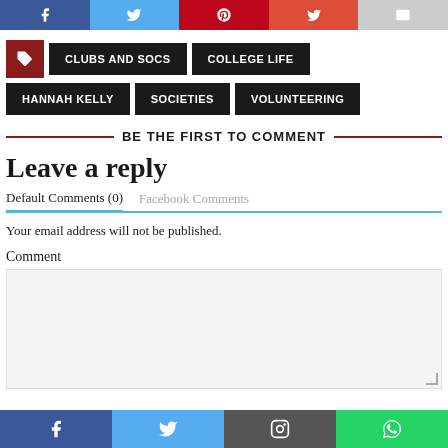[Figure (other): Social share buttons row at top: Facebook (blue), Twitter (light blue), Pinterest (red), Google+ (red-orange), Email (grey)]
CLUBS AND SOCS
COLLEGE LIFE
HANNAH KELLY
SOCIETIES
VOLUNTEERING
BE THE FIRST TO COMMENT
Leave a reply
Default Comments (0)   Facebook Comments
Your email address will not be published.
Comment
[Figure (other): Empty comment text area input box]
Social share bar: Facebook, Twitter, Instagram, WhatsApp